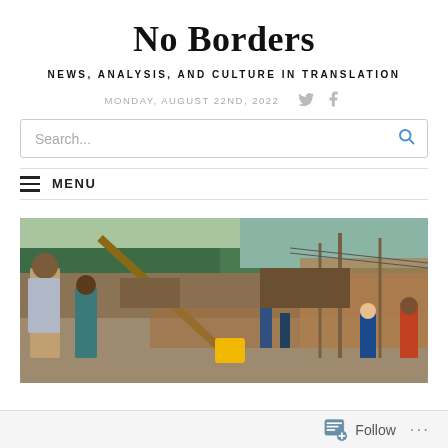No Borders
NEWS, ANALYSIS, AND CULTURE IN TRANSLATION
MONDAY, AUGUST 22ND, 2022
Search...
MENU
[Figure (photo): Street scene in an informal settlement, possibly in Africa, showing people going about daily activities among corrugated iron structures and a wide unpaved street with trees in the background.]
Follow